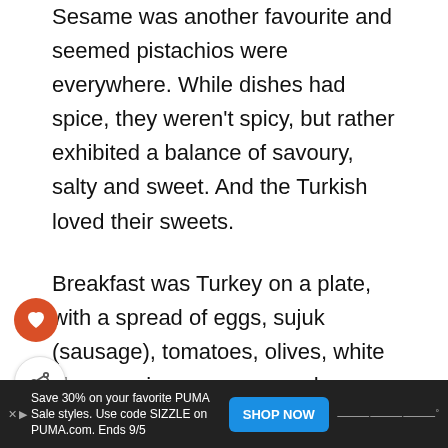Sesame was another favourite and seemed pistachios were everywhere. While dishes had spice, they weren't spicy, but rather exhibited a balance of savoury, salty and sweet. And the Turkish loved their sweets.
Breakfast was Turkey on a plate, with a spread of eggs, sujuk (sausage), tomatoes, olives, white cheeses, jams, preserves, honey, yoghurt, and breads, and one of our favourite breakfast dishes, menemen, which consisted of eggs, tomatoes, capsicum, onion, and olive oil was Turkey pan.
[Figure (other): Orange circular like button with heart icon and white circular share button with share icon]
[Figure (other): Dark advertisement bar at the bottom: Save 30% on your favorite PUMA Sale styles. Use code SIZZLE on PUMA.com. Ends 9/5 with a blue SHOP NOW button and a logo on the right.]